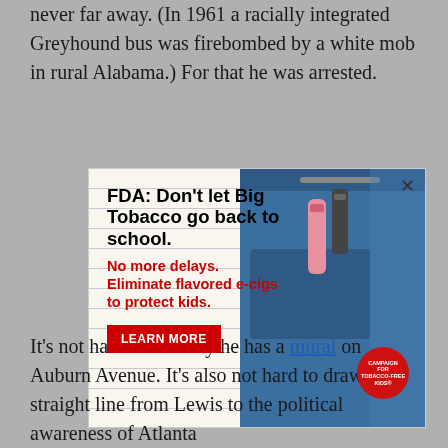never far away. (In 1961 a racially integrated Greyhound bus was firebombed by a white mob in rural Alabama.) For that he was arrested.
[Figure (other): Advertisement from Campaign for Tobacco-Free Kids. Headline: 'FDA: Don't let Big Tobacco go back to school.' Subtext in red: 'No more delays. Eliminate flavored e-cigs to protect kids.' Red 'LEARN MORE' button. Background shows blue backpack with vaping devices. Red circular badge with 'Campaign for Tobacco-Free Kids' logo. Close X button in top right.]
It's not hard to see why he has a mural on Auburn Avenue. It's also not hard to draw a straight line from Lewis to the political awareness of Atlanta